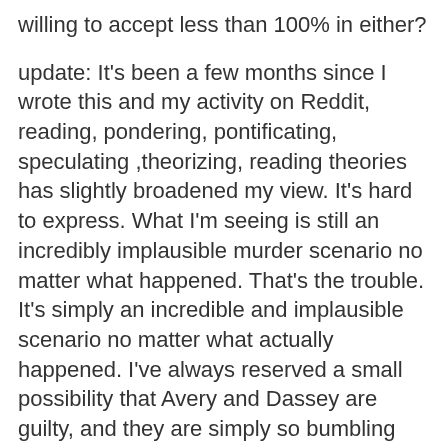willing to accept less than 100% in either?
update: It's been a few months since I wrote this and my activity on Reddit, reading, pondering, pontificating, speculating ,theorizing, reading theories has slightly broadened my view. It's hard to express. What I'm seeing is still an incredibly implausible murder scenario no matter what happened. That's the trouble. It's simply an incredible and implausible scenario no matter what actually happened. I've always reserved a small possibility that Avery and Dassey are guilty, and they are simply so bumbling and moronic and also criminally diabolical that they've managed to appear totally innocent only because they are so unskilled at murder that they don't even know how to tell the truth or to lie convincingly. It's really a case of inexplicable insanity with no reasoning or justifying it. I guess many murders fall into this category: inexplicable madness